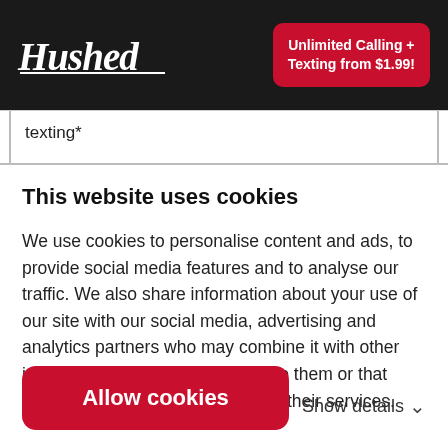Hushed — Unlimited Calling + Texting from $1.99!
| texting* |
This website uses cookies
We use cookies to personalise content and ads, to provide social media features and to analyse our traffic. We also share information about your use of our site with our social media, advertising and analytics partners who may combine it with other information that you've provided to them or that they've collected from your use of their services.
Allow cookies
Show details